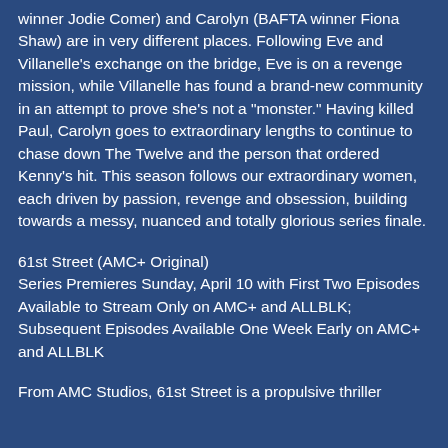winner Jodie Comer) and Carolyn (BAFTA winner Fiona Shaw) are in very different places. Following Eve and Villanelle's exchange on the bridge, Eve is on a revenge mission, while Villanelle has found a brand-new community in an attempt to prove she's not a "monster." Having killed Paul, Carolyn goes to extraordinary lengths to continue to chase down The Twelve and the person that ordered Kenny's hit. This season follows our extraordinary women, each driven by passion, revenge and obsession, building towards a messy, nuanced and totally glorious series finale.
61st Street (AMC+ Original)
Series Premieres Sunday, April 10 with First Two Episodes Available to Stream Only on AMC+ and ALLBLK; Subsequent Episodes Available One Week Early on AMC+ and ALLBLK
From AMC Studios, 61st Street is a propulsive thriller